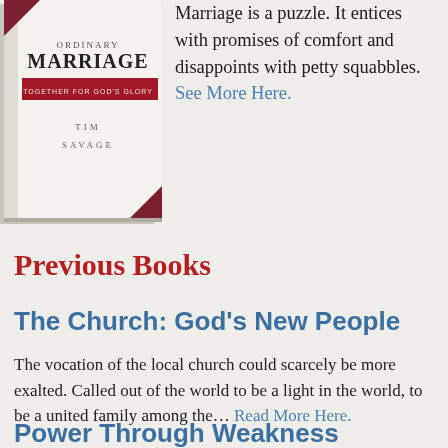[Figure (illustration): Book cover for 'Ordinary Marriage Together for God's Glory' by Tim Savage, showing a white book with red accent stripe and dark corner decorations.]
Marriage is a puzzle. It entices with promises of comfort and disappoints with petty squabbles. See More Here.
Previous Books
The Church: God's New People
The vocation of the local church could scarcely be more exalted. Called out of the world to be a light in the world, to be a united family among the… Read More Here.
Power Through Weakness